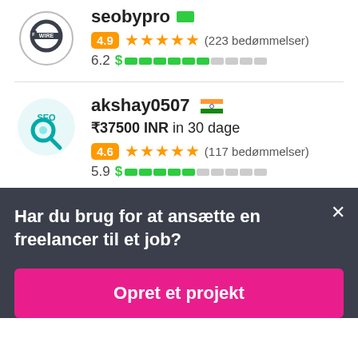[Figure (logo): FPwire circular logo with 'WIRE' text]
seobypro
4.9 ★★★★★ (223 bedømmelser)
6.2 $ ██████░░░░
[Figure (logo): SEO magnifying glass logo]
akshay0507 🇮🇳
₹37500 INR in 30 dage
4.6 ★★★★★ (117 bedømmelser)
5.9 $ ██████░░░░
Har du brug for at ansætte en freelancer til et job?
Opret et projekt